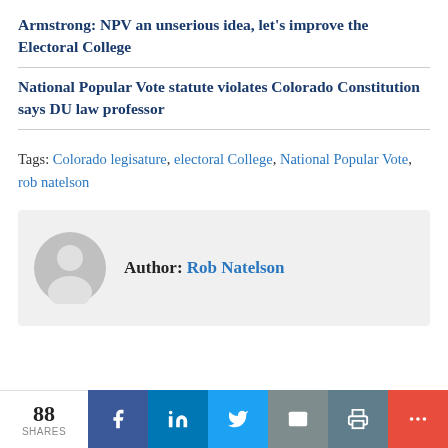Armstrong: NPV an unserious idea, let's improve the Electoral College
National Popular Vote statute violates Colorado Constitution says DU law professor
Tags: Colorado legisature, electoral College, National Popular Vote, rob natelson
[Figure (other): Author box with avatar placeholder and text 'Author: Rob Natelson']
88 SHARES social share bar with Facebook, LinkedIn, Twitter, Email, Print, More buttons